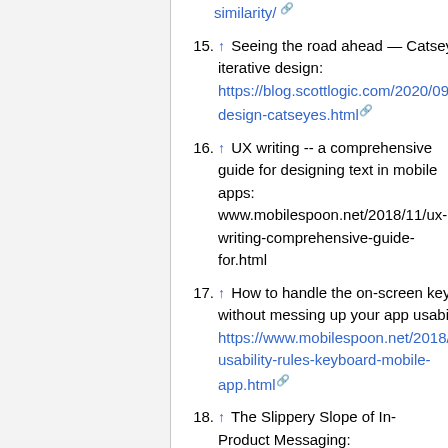similarity/ [link]
15. ↑ Seeing the road ahead — Catseyes and iterative design: https://blog.scottlogic.com/2020/09/25/Iterative-design-catseyes.html [link]
16. ↑ UX writing -- a comprehensive guide for designing text in mobile apps: www.mobilespoon.net/2018/11/ux-writing-comprehensive-guide-for.html
17. ↑ How to handle the on-screen keyboard without messing up your app usability: https://www.mobilespoon.net/2018/12/10-usability-rules-keyboard-mobile-app.html [link]
18. ↑ The Slippery Slope of In-Product Messaging: